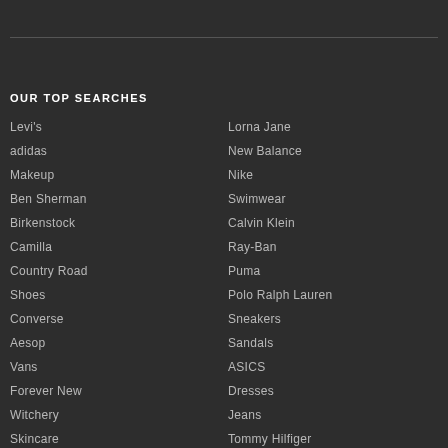OUR TOP SEARCHES
Levi's
adidas
Makeup
Ben Sherman
Birkenstock
Camilla
Country Road
Shoes
Converse
Aesop
Vans
Forever New
Witchery
Skincare
Lorna Jane
New Balance
Nike
Swimwear
Calvin Klein
Ray-Ban
Puma
Polo Ralph Lauren
Sneakers
Sandals
ASICS
Dresses
Jeans
Tommy Hilfiger